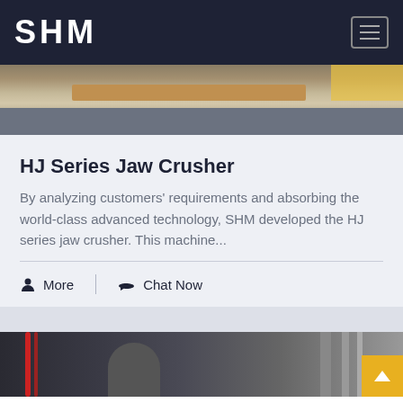SHM
[Figure (photo): Top portion of an industrial jaw crusher machine showing a metal base plate on a wooden pallet, concrete floor visible]
HJ Series Jaw Crusher
By analyzing customers' requirements and absorbing the world-class advanced technology, SHM developed the HJ series jaw crusher. This machine...
More   Chat Now
[Figure (photo): Bottom portion showing industrial machinery with cables and cylindrical components]